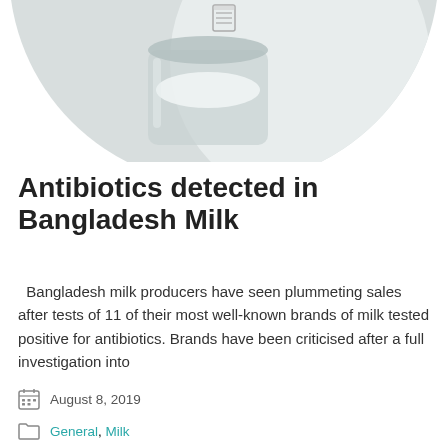[Figure (photo): Circular cropped photo of milk in a glass jar and bottle, black and white / grey-toned, with a small grid/table icon overlay at the top center.]
Antibiotics detected in Bangladesh Milk
Bangladesh milk producers have seen plummeting sales after tests of 11 of their most well-known brands of milk tested positive for antibiotics. Brands have been criticised after a full investigation into
August 8, 2019
General, Milk